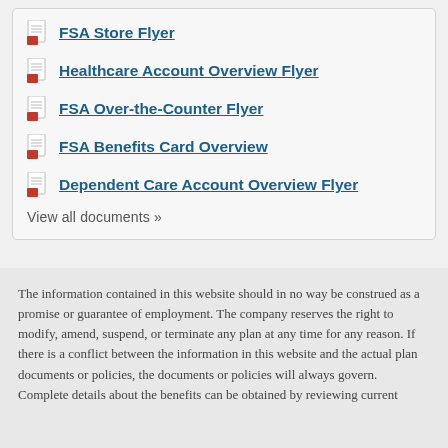FSA Store Flyer
Healthcare Account Overview Flyer
FSA Over-the-Counter Flyer
FSA Benefits Card Overview
Dependent Care Account Overview Flyer
View all documents »
The information contained in this website should in no way be construed as a promise or guarantee of employment. The company reserves the right to modify, amend, suspend, or terminate any plan at any time for any reason. If there is a conflict between the information in this website and the actual plan documents or policies, the documents or policies will always govern. Complete details about the benefits can be obtained by reviewing current